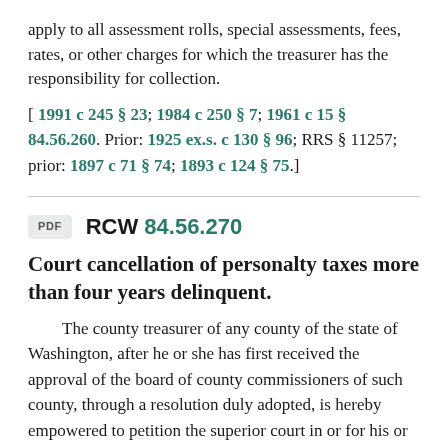apply to all assessment rolls, special assessments, fees, rates, or other charges for which the treasurer has the responsibility for collection.
[ 1991 c 245 § 23; 1984 c 250 § 7; 1961 c 15 § 84.56.260. Prior: 1925 ex.s. c 130 § 96; RRS § 11257; prior: 1897 c 71 § 74; 1893 c 124 § 75.]
RCW 84.56.270
Court cancellation of personalty taxes more than four years delinquent.
The county treasurer of any county of the state of Washington, after he or she has first received the approval of the board of county commissioners of such county, through a resolution duly adopted, is hereby empowered to petition the superior court in or for his or her county to finally cancel and completely